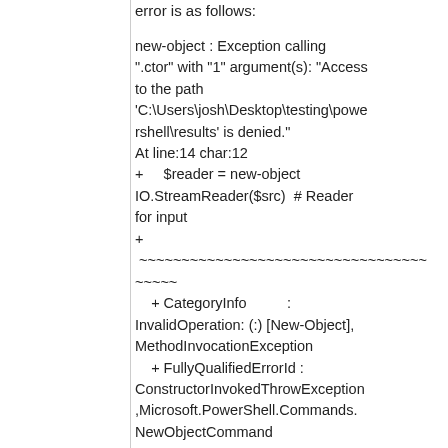error is as follows:
new-object : Exception calling ".ctor" with "1" argument(s): "Access to the path 'C:\Users\josh\Desktop\testing\powershell\results' is denied."
At line:14 char:12
+     $reader = new-object IO.StreamReader($src)  # Reader for input
+
 ~~~~~~~~~~~~~~~~~~~~~~~~~~~~~~~~~~
    + CategoryInfo          : InvalidOperation: (:) [New-Object], MethodInvocationException
    + FullyQualifiedErrorId : ConstructorInvokedThrowException,Microsoft.PowerShell.Commands.NewObjectCommand
Sample source data (this sample should be a test text file